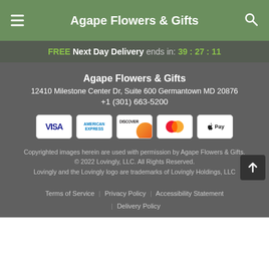Agape Flowers & Gifts
FREE Next Day Delivery ends in: 39:27:11
Agape Flowers & Gifts
12410 Milestone Center Dr, Suite 600 Germantown MD 20876
+1 (301) 663-5200
[Figure (other): Payment method icons: VISA, AMERICAN EXPRESS, DISCOVER, MasterCard, Apple Pay]
Copyrighted images herein are used with permission by Agape Flowers & Gifts.
© 2022 Lovingly, LLC. All Rights Reserved.
Lovingly and the Lovingly logo are trademarks of Lovingly Holdings, LLC
Terms of Service | Privacy Policy | Accessibility Statement | Delivery Policy